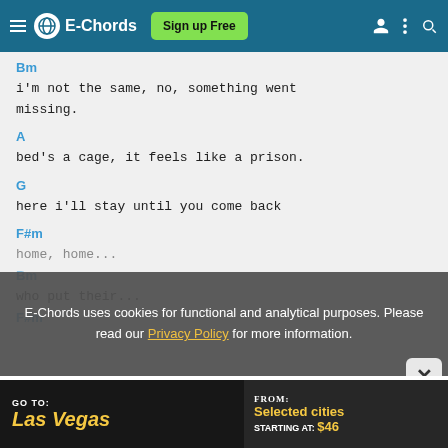E-Chords  Sign up Free
Bm
i'm not the same, no, something went missing.
A
bed's a cage, it feels like a prison.
G
here i'll stay until you come back
F#m
home, home...
Bm
who put their...
F#m
E-Chords uses cookies for functional and analytical purposes. Please read our Privacy Policy for more information.
[Figure (screenshot): Advertisement banner: Go To: Las Vegas / From: Selected cities Starting at: $46]